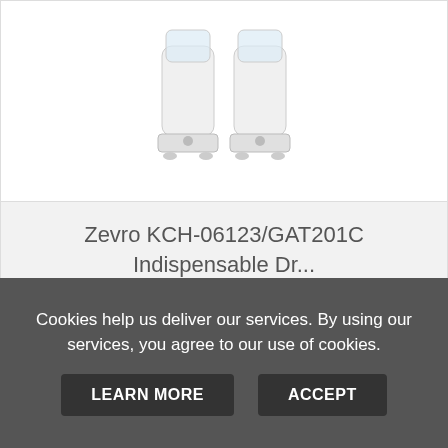[Figure (photo): White dual-canister dry food/cereal dispenser product image]
Zevro KCH-06123/GAT201C Indispensable Dr...
$49.99 $42.49 ★★★★★
VIEW  ADD TO CART
Cookies help us deliver our services. By using our services, you agree to our use of cookies.
LEARN MORE  ACCEPT